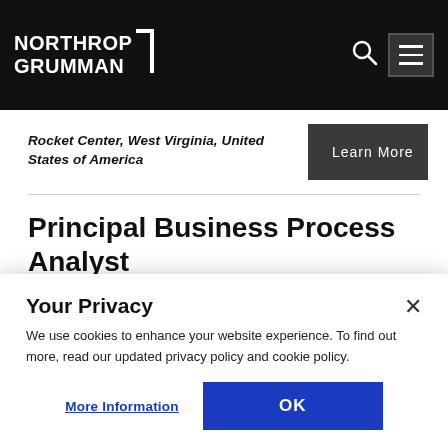NORTHROP GRUMMAN
Rocket Center, West Virginia, United States of America
Learn More
Principal Business Process Analyst
Huntsville, Alabama, United States of America
Your Privacy
We use cookies to enhance your website experience. To find out more, read our updated privacy policy and cookie policy.
More Information
OK